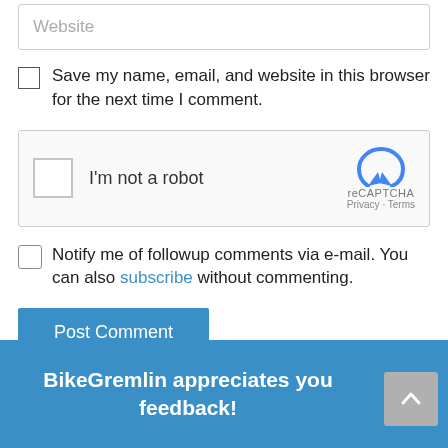Website
Save my name, email, and website in this browser for the next time I comment.
[Figure (other): reCAPTCHA widget with checkbox and I'm not a robot text]
Notify me of followup comments via e-mail. You can also subscribe without commenting.
Post Comment
BikeGremlin appreciates your feedback!